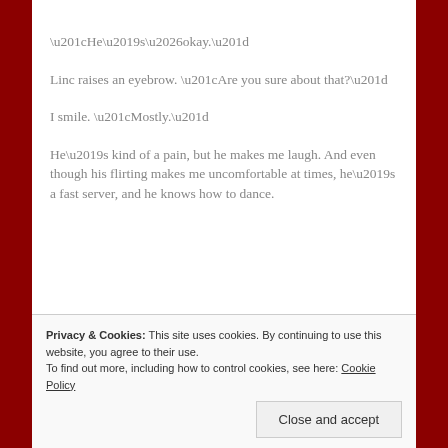“He’s…okay.”
Linc raises an eyebrow. “Are you sure about that?”
I smile. “Mostly.”
He’s kind of a pain, but he makes me laugh. And even though his flirting makes me uncomfortable at times, he’s a fast server, and he knows how to dance.
Privacy & Cookies: This site uses cookies. By continuing to use this website, you agree to their use.
To find out more, including how to control cookies, see here: Cookie Policy
Close and accept